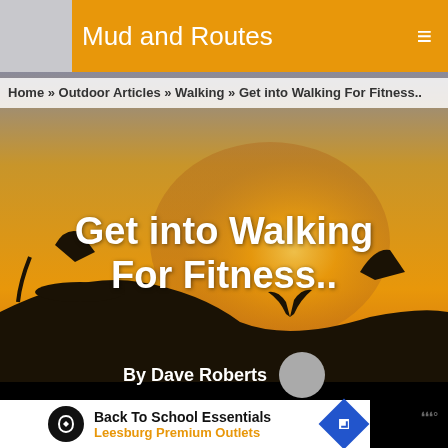Mud and Routes
Home » Outdoor Articles » Walking » Get into Walking For Fitness..
[Figure (photo): Silhouette of two cyclists riding bikes on a hill at golden sunset/sunrise, with a dramatic warm orange sky and dark foreground. Text 'Get into Walking For Fitness..' overlaid in white bold font.]
Get into Walking For Fitness..
By Dave Roberts
[Figure (other): Advertisement banner: Back To School Essentials - Leesburg Premium Outlets]